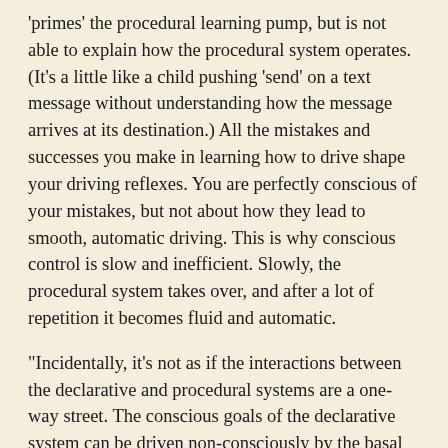'primes' the procedural learning pump, but is not able to explain how the procedural system operates. (It's a little like a child pushing 'send' on a text message without understanding how the message arrives at its destination.) All the mistakes and successes you make in learning how to drive shape your driving reflexes. You are perfectly conscious of your mistakes, but not about how they lead to smooth, automatic driving. This is why conscious control is slow and inefficient. Slowly, the procedural system takes over, and after a lot of repetition it becomes fluid and automatic.
"Incidentally, it's not as if the interactions between the declarative and procedural systems are a one-way street. The conscious goals of the declarative system can be driven non-consciously by the basal ganglia procedural system. Procedural learning works by using a value function that it has built over many years of experience in dealing with complex, uncertain conditions in the world. The value function helps the